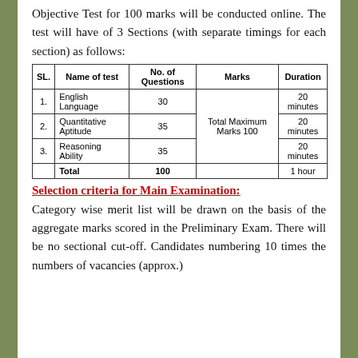Objective Test for 100 marks will be conducted online. The test will have of 3 Sections (with separate timings for each section) as follows:
| SL. | Name of test | No. of Questions | Marks | Duration |
| --- | --- | --- | --- | --- |
| 1. | English Language | 30 | Total Maximum Marks 100 | 20 minutes |
| 2. | Quantitative Aptitude | 35 |  | 20 minutes |
| 3. | Reasoning Ability | 35 |  | 20 minutes |
|  | Total | 100 |  | 1 hour |
Selection criteria for Main Examination:
Category wise merit list will be drawn on the basis of the aggregate marks scored in the Preliminary Exam. There will be no sectional cut-off. Candidates numbering 10 times the numbers of vacancies (approx.)